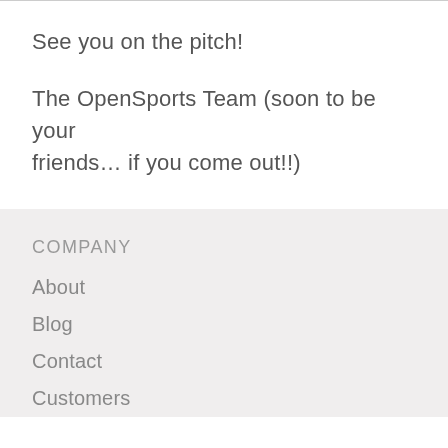See you on the pitch!
The OpenSports Team (soon to be your friends… if you come out!!)
COMPANY
About
Blog
Contact
Customers